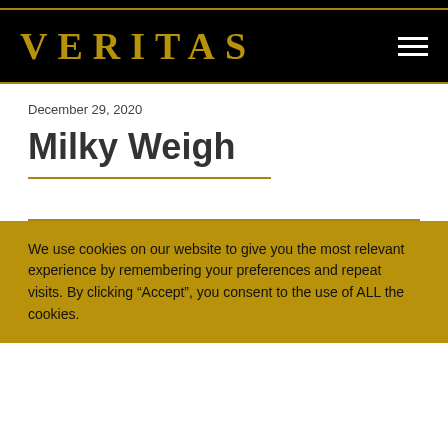VERITAS
December 29, 2020
Milky Weigh
We use cookies on our website to give you the most relevant experience by remembering your preferences and repeat visits. By clicking “Accept”, you consent to the use of ALL the cookies.